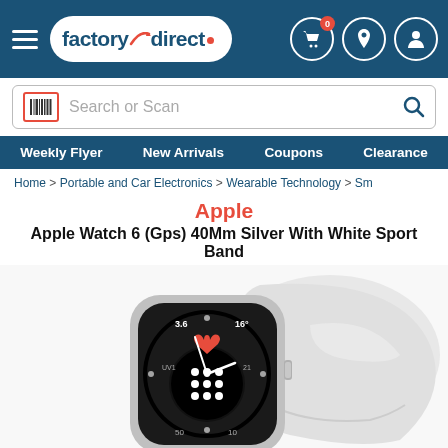[Figure (screenshot): Factory Direct store header with hamburger menu, logo, cart, location, and profile icons on dark blue background]
Search or Scan
Weekly Flyer   New Arrivals   Coupons   Clearance
Home > Portable and Car Electronics > Wearable Technology > Sm
Apple
Apple Watch 6 (Gps) 40Mm Silver With White Sport Band
[Figure (photo): Apple Watch 6 GPS 40mm Silver with White Sport Band product photo showing the watch face displaying 3.6, 16°, and a white sport band behind it]